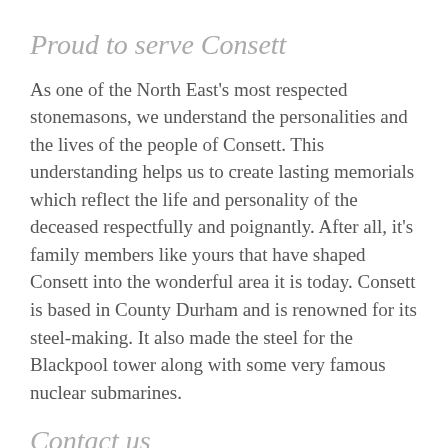Proud to serve Consett
As one of the North East's most respected stonemasons, we understand the personalities and the lives of the people of Consett. This understanding helps us to create lasting memorials which reflect the life and personality of the deceased respectfully and poignantly. After all, it's family members like yours that have shaped Consett into the wonderful area it is today. Consett is based in County Durham and is renowned for its steel-making. It also made the steel for the Blackpool tower along with some very famous nuclear submarines.
Contact us
Looking for a memorial or headstone in Consett? Please get in touch with us today to receive a copy of our brochures by calling us on local 0191 5812329 or